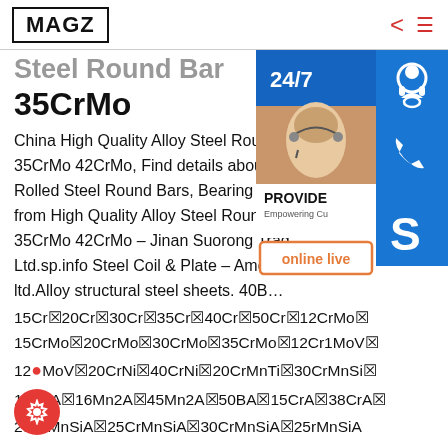MAGZ
35CrMo
China High Quality Alloy Steel Round Bar 35CrMo 42CrMo, Find details about China Hot Rolled Steel Round Bars, Bearing Steel from High Quality Alloy Steel Round Bar 35CrMo 42CrMo - Jinan Suorong Trade Co., Ltd.sp.info Steel Coil & Plate - Amco Steel ltd.Alloy structural steel sheets. 40B…
15Cr✕20Cr✕30Cr✕35Cr✕40Cr✕50Cr✕12CrMo✕15CrMo✕20CrMo✕30CrMo✕35CrMo✕12Cr1MoV✕12…MoV✕20CrNi✕40CrNi✕20CrMnTi✕30CrMnSi✕12…2A✕16Mn2A✕45Mn2A✕50BA✕15CrA✕38CrA✕20CrMnSiA✕25CrMnSiA✕30CrMnSiA✕25rMnSiA